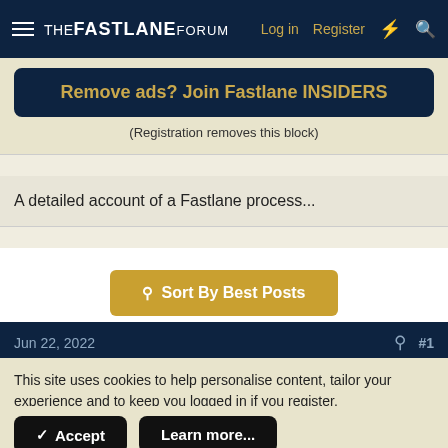THE FASTLANE FORUM   Log in   Register
Remove ads? Join Fastlane INSIDERS
(Registration removes this block)
A detailed account of a Fastlane process...
Sort By Best Posts
Jun 22, 2022   #1
This site uses cookies to help personalise content, tailor your experience and to keep you logged in if you register.
By continuing to use this site, you are consenting to our use of cookies.
Accept   Learn more...